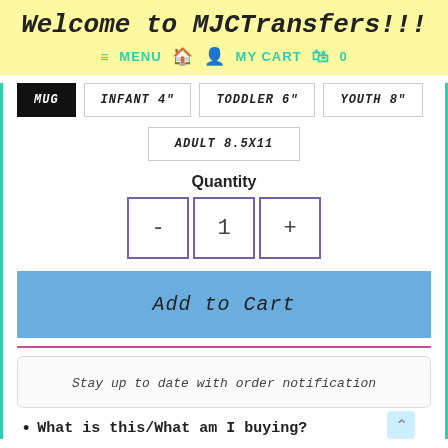Welcome to MJCTransfers!!!
≡ MENU  🏠  👤  MY CART  🛍  0
MUG  INFANT 4"  TODDLER 6"  YOUTH 8"
ADULT 8.5X11
Quantity
-  1  +
Add to Cart
Stay up to date with order notification
What is this/What am I buying?